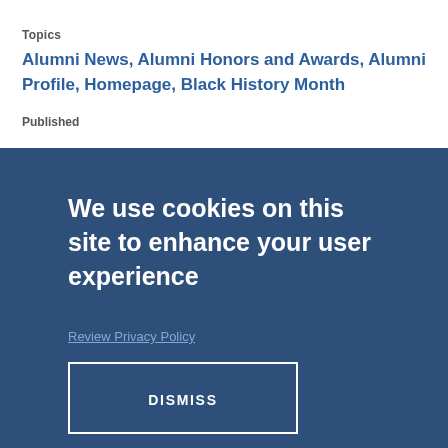Topics
Alumni News, Alumni Honors and Awards, Alumni Profile, Homepage, Black History Month
Published
We use cookies on this site to enhance your user experience
Review Privacy Policy
DISMISS